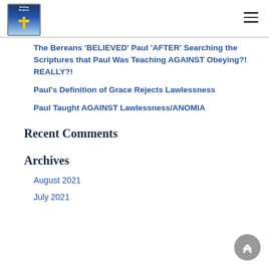[Figure (logo): Website logo with cross imagery and blue sky background]
The Bereans 'BELIEVED' Paul 'AFTER' Searching the Scriptures that Paul Was Teaching AGAINST Obeying?! REALLY?!
Paul's Definition of Grace Rejects Lawlessness
Paul Taught AGAINST Lawlessness/ANOMIA
Recent Comments
Archives
August 2021
July 2021